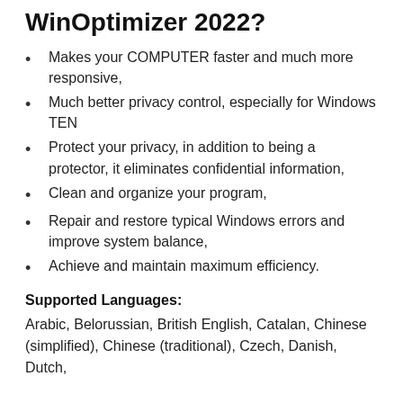WinOptimizer 2022?
Makes your COMPUTER faster and much more responsive,
Much better privacy control, especially for Windows TEN
Protect your privacy, in addition to being a protector, it eliminates confidential information,
Clean and organize your program,
Repair and restore typical Windows errors and improve system balance,
Achieve and maintain maximum efficiency.
Supported Languages:
Arabic, Belorussian, British English, Catalan, Chinese (simplified), Chinese (traditional), Czech, Danish, Dutch,